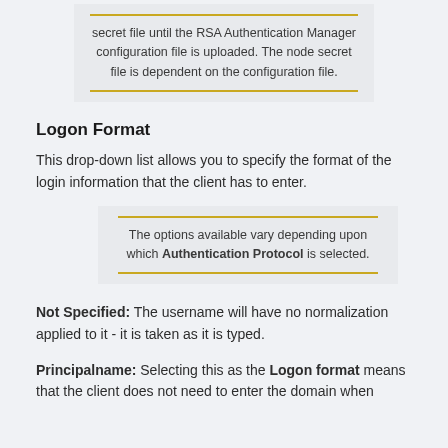secret file until the RSA Authentication Manager configuration file is uploaded. The node secret file is dependent on the configuration file.
Logon Format
This drop-down list allows you to specify the format of the login information that the client has to enter.
The options available vary depending upon which Authentication Protocol is selected.
Not Specified: The username will have no normalization applied to it - it is taken as it is typed.
Principalname: Selecting this as the Logon format means that the client does not need to enter the domain when